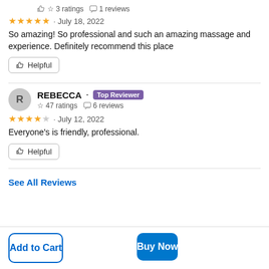3 ratings   1 reviews
★★★★★ · July 18, 2022
So amazing! So professional and such an amazing massage and experience. Definitely recommend this place
Helpful
REBECCA · Top Reviewer
47 ratings   6 reviews
★★★★☆ · July 12, 2022
Everyone's is friendly, professional.
Helpful
See All Reviews
Add to Cart
Buy Now